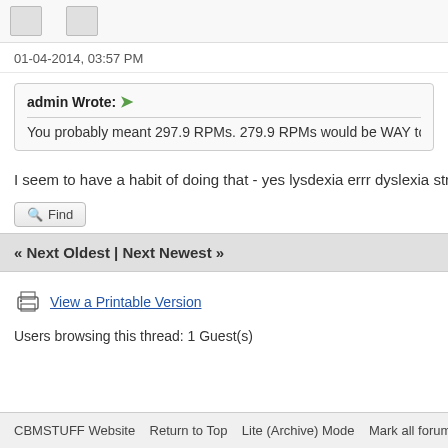[Figure (other): Avatar image placeholder at top of forum post]
01-04-2014, 03:57 PM
admin Wrote: You probably meant 297.9 RPMs. 279.9 RPMs would be WAY too s
I seem to have a habit of doing that - yes lysdexia errr dyslexia strike
Find
« Next Oldest | Next Newest »
View a Printable Version
Users browsing this thread: 1 Guest(s)
CBMSTUFF Website   Return to Top   Lite (Archive) Mode   Mark all forums read